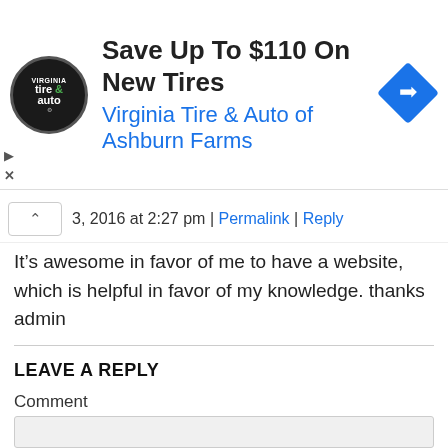[Figure (other): Advertisement banner for Virginia Tire & Auto of Ashburn Farms. Shows circular logo with 'tire & auto' text, headline 'Save Up To $110 On New Tires', subtext 'Virginia Tire & Auto of Ashburn Farms', and a blue diamond arrow icon on the right.]
3, 2016 at 2:27 pm | Permalink | Reply
It’s awesome in favor of me to have a website, which is helpful in favor of my knowledge. thanks admin
LEAVE A REPLY
Comment